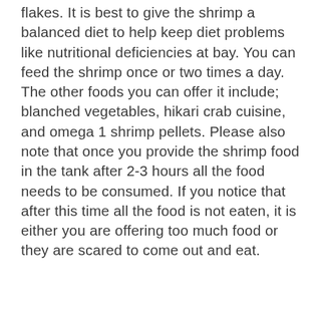flakes. It is best to give the shrimp a balanced diet to help keep diet problems like nutritional deficiencies at bay. You can feed the shrimp once or two times a day. The other foods you can offer it include; blanched vegetables, hikari crab cuisine, and omega 1 shrimp pellets. Please also note that once you provide the shrimp food in the tank after 2-3 hours all the food needs to be consumed. If you notice that after this time all the food is not eaten, it is either you are offering too much food or they are scared to come out and eat.